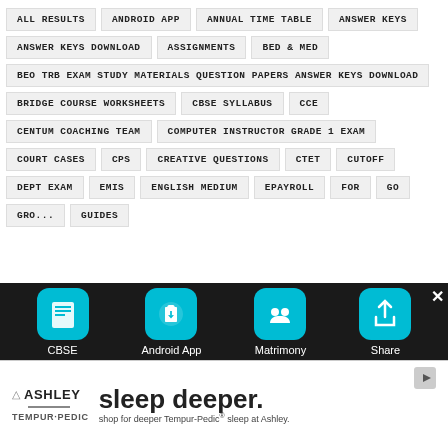ALL RESULTS
ANDROID APP
ANNUAL TIME TABLE
ANSWER KEYS
ANSWER KEYS DOWNLOAD
ASSIGNMENTS
BED & MED
BEO TRB EXAM STUDY MATERIALS QUESTION PAPERS ANSWER KEYS DOWNLOAD
BRIDGE COURSE WORKSHEETS
CBSE SYLLABUS
CCE
CENTUM COACHING TEAM
COMPUTER INSTRUCTOR GRADE 1 EXAM
COURT CASES
CPS
CREATIVE QUESTIONS
CTET
CUTOFF
DEPT EXAM
EMIS
ENGLISH MEDIUM
EPAYROLL
FOR
GO
GRO...
GUIDES
[Figure (screenshot): Bottom navigation bar with CBSE, Android App, Matrimony, Share icons on dark background]
[Figure (infographic): Ashley Tempur-Pedic advertisement: sleep deeper.]